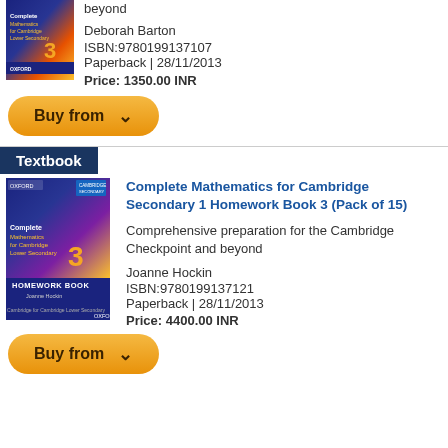[Figure (illustration): Book cover for Complete Mathematics for Cambridge Lower Secondary 3 (top, partial)]
beyond
Deborah Barton
ISBN:9780199137107
Paperback | 28/11/2013
Price: 1350.00 INR
[Figure (other): Buy from button with dropdown chevron]
Textbook
[Figure (illustration): Book cover for Complete Mathematics for Cambridge Secondary 1 Homework Book 3 (Pack of 15)]
Complete Mathematics for Cambridge Secondary 1 Homework Book 3 (Pack of 15)
Comprehensive preparation for the Cambridge Checkpoint and beyond
Joanne Hockin
ISBN:9780199137121
Paperback | 28/11/2013
Price: 4400.00 INR
[Figure (other): Buy from button with dropdown chevron (partial, bottom)]